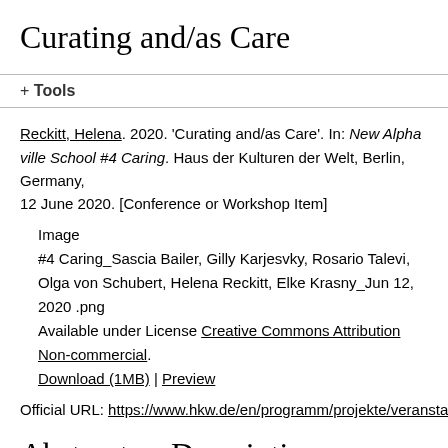Curating and/as Care
+ Tools
Reckitt, Helena. 2020. 'Curating and/as Care'. In: New Alphaville School #4 Caring. Haus der Kulturen der Welt, Berlin, Germany, 12 June 2020. [Conference or Workshop Item]
Image
#4 Caring_Sascia Bailer, Gilly Karjesvky, Rosario Talevi, Olga von Schubert, Helena Reckitt, Elke Krasny_Jun 12, 2020 .png
Available under License Creative Commons Attribution Non-commercial.
Download (1MB) | Preview
Official URL: https://www.hkw.de/en/programm/projekte/veransta
Abstract or Description
This is an automatically retrieved abstract of this...